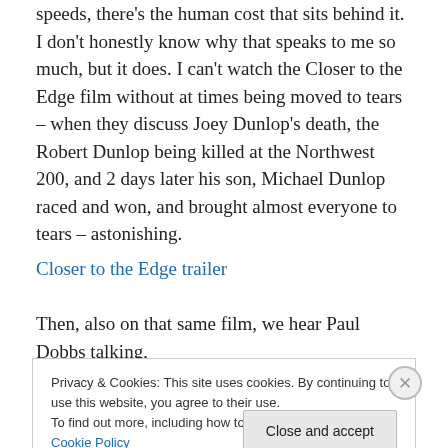speeds, there's the human cost that sits behind it. I don't honestly know why that speaks to me so much, but it does. I can't watch the Closer to the Edge film without at times being moved to tears – when they discuss Joey Dunlop's death, the Robert Dunlop being killed at the Northwest 200, and 2 days later his son, Michael Dunlop raced and won, and brought almost everyone to tears – astonishing.
Closer to the Edge trailer
Then, also on that same film, we hear Paul Dobbs talking,
Privacy & Cookies: This site uses cookies. By continuing to use this website, you agree to their use.
To find out more, including how to control cookies, see here: Cookie Policy